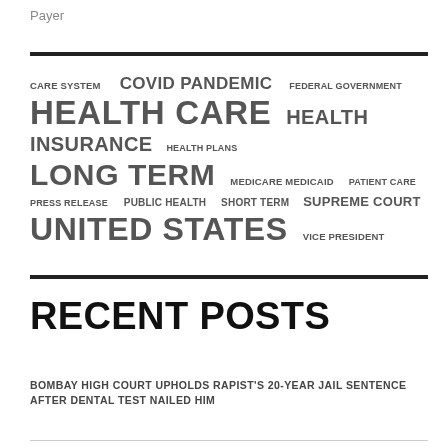Payer
[Figure (infographic): Tag cloud with health-related terms in varying font sizes: CARE SYSTEM, COVID PANDEMIC, FEDERAL GOVERNMENT, HEALTH CARE, HEALTH INSURANCE, HEALTH PLANS, LONG TERM, MEDICARE MEDICAID, PATIENT CARE, PRESS RELEASE, PUBLIC HEALTH, SHORT TERM, SUPREME COURT, UNITED STATES, VICE PRESIDENT]
RECENT POSTS
BOMBAY HIGH COURT UPHOLDS RAPIST'S 20-YEAR JAIL SENTENCE AFTER DENTAL TEST NAILED HIM